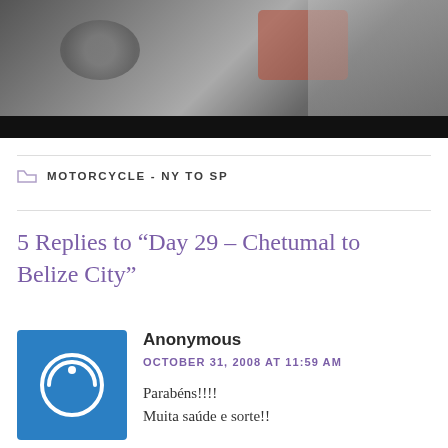[Figure (photo): Partial photo of a motorcycle with dark details and a black bar at the bottom, partially cropped]
MOTORCYCLE - NY TO SP
5 Replies to “Day 29 – Chetumal to Belize City”
[Figure (other): Blue square avatar with white power button icon]
Anonymous
OCTOBER 31, 2008 AT 11:59 AM
Parabéns!!!!
Muita saúde e sorte!!